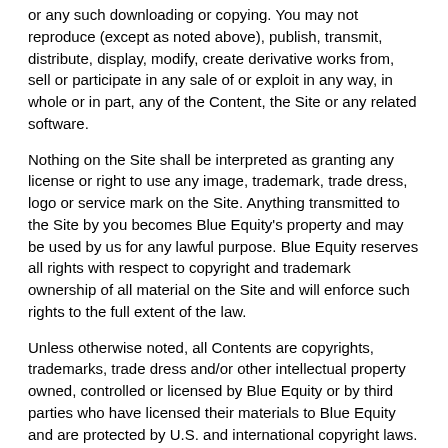or any such downloading or copying. You may not reproduce (except as noted above), publish, transmit, distribute, display, modify, create derivative works from, sell or participate in any sale of or exploit in any way, in whole or in part, any of the Content, the Site or any related software.
Nothing on the Site shall be interpreted as granting any license or right to use any image, trademark, trade dress, logo or service mark on the Site. Anything transmitted to the Site by you becomes Blue Equity's property and may be used by us for any lawful purpose. Blue Equity reserves all rights with respect to copyright and trademark ownership of all material on the Site and will enforce such rights to the full extent of the law.
Unless otherwise noted, all Contents are copyrights, trademarks, trade dress and/or other intellectual property owned, controlled or licensed by Blue Equity or by third parties who have licensed their materials to Blue Equity and are protected by U.S. and international copyright laws. The compilation of all Contents on the Site is the exclusive property of Blue Equity and is also protected by U.S. and international copyright laws.
Cookies: